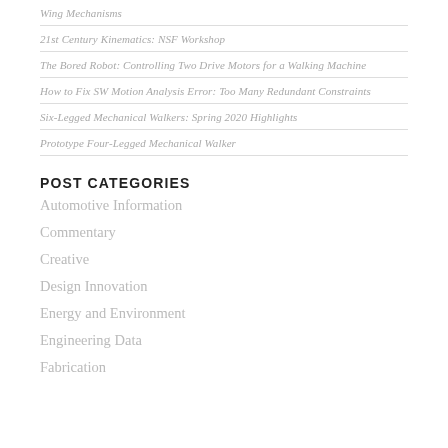Wing Mechanisms
21st Century Kinematics: NSF Workshop
The Bored Robot: Controlling Two Drive Motors for a Walking Machine
How to Fix SW Motion Analysis Error: Too Many Redundant Constraints
Six-Legged Mechanical Walkers: Spring 2020 Highlights
Prototype Four-Legged Mechanical Walker
POST CATEGORIES
Automotive Information
Commentary
Creative
Design Innovation
Energy and Environment
Engineering Data
Fabrication